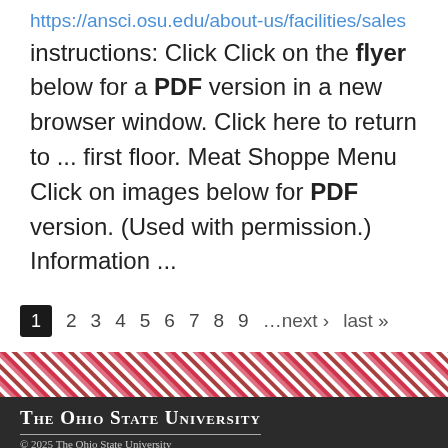https://ansci.osu.edu/about-us/facilities/sales
instructions: Click Click on the flyer below for a PDF version in a new browser window. Click here to return to ... first floor. Meat Shoppe Menu Click on images below for PDF version. (Used with permission.) Information ...
1 2 3 4 5 6 7 8 9 …next › last »
[Figure (other): Diagonal red and white striped banner decorative element]
The Ohio State University
© 2025 The Ohio State University